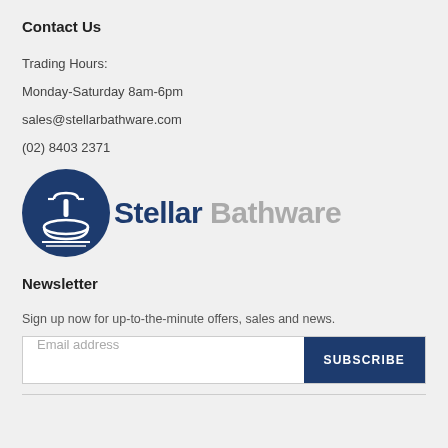Contact Us
Trading Hours:
Monday-Saturday 8am-6pm
sales@stellarbathware.com
(02) 8403 2371
[Figure (logo): Stellar Bathware logo with dark blue circle containing a white basin/faucet icon, followed by text 'Stellar Bathware' where 'Stellar' is dark blue and 'Bathware' is gray]
Newsletter
Sign up now for up-to-the-minute offers, sales and news.
Email address  SUBSCRIBE